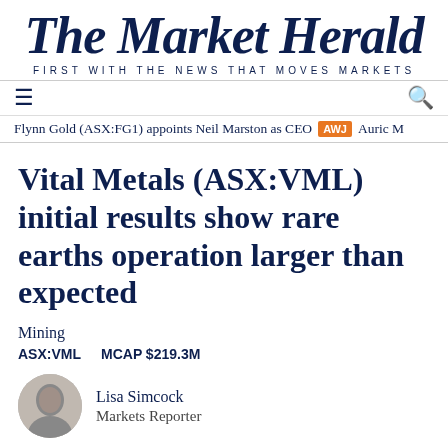The Market Herald — FIRST WITH THE NEWS THAT MOVES MARKETS
Flynn Gold (ASX:FG1) appoints Neil Marston as CEO  AWJ  Auric M
Vital Metals (ASX:VML) initial results show rare earths operation larger than expected
Mining
ASX:VML   MCAP $219.3M
Lisa Simcock
Markets Reporter